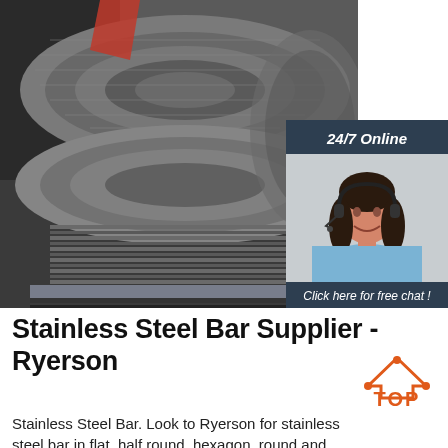[Figure (photo): Industrial stainless steel wire/bar coils stacked in a warehouse facility]
[Figure (photo): Customer service agent (woman with headset) with '24/7 Online' header and 'Click here for free chat! QUOTATION' call-to-action panel on dark blue background]
Stainless Steel Bar Supplier - Ryerson
[Figure (logo): TOP logo with orange triangle/arrows icon and orange text 'TOP']
Stainless Steel Bar. Look to Ryerson for stainless steel bar in flat, half round, hexagon, round and